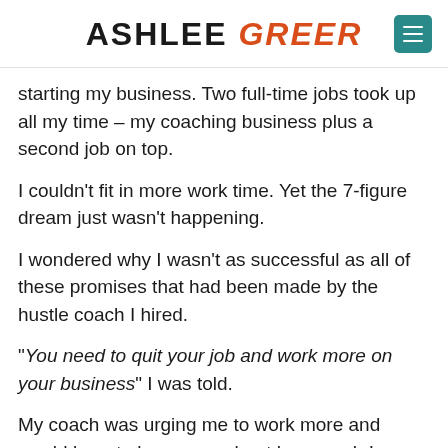ASHLEE GREER
starting my business. Two full-time jobs took up all my time – my coaching business plus a second job on top.
I couldn't fit in more work time. Yet the 7-figure dream just wasn't happening.
I wondered why I wasn't as successful as all of these promises that had been made by the hustle coach I hired.
“You need to quit your job and work more on your business” I was told.
My coach was urging me to work more and would brag to her group about how much I